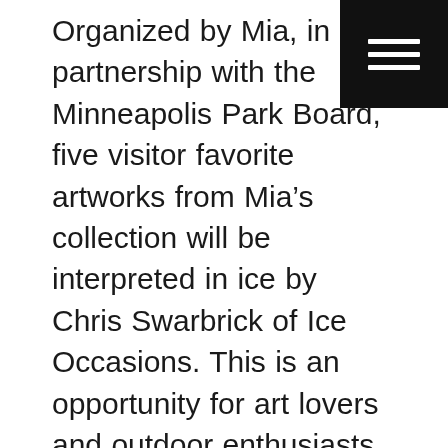[Figure (other): Black square hamburger menu icon in top-right corner with three white horizontal lines]
Organized by Mia, in partnership with the Minneapolis Park Board, five visitor favorite artworks from Mia's collection will be interpreted in ice by Chris Swarbrick of Ice Occasions. This is an opportunity for art lovers and outdoor enthusiasts to experience a bit of Mia's collection for free, without stepping inside the museum. The ice sculptures will be on view starting Friday, Feb. 19 and remain on view through Sunday, Feb. 28, or as long as weather allows. Swarbrick is carving the sculptures in his studio before transporting them to the five locations. Featured artworks and locations: “Veiled Lady,” at Longfellow Park, “Olive Trees,” at Washburn-Fair Oaks Park, “Your Dog,” at Bde Mka Ska, “Celestial Horse,” at North Commons Park, “Aphrodisiac Telephone,” at